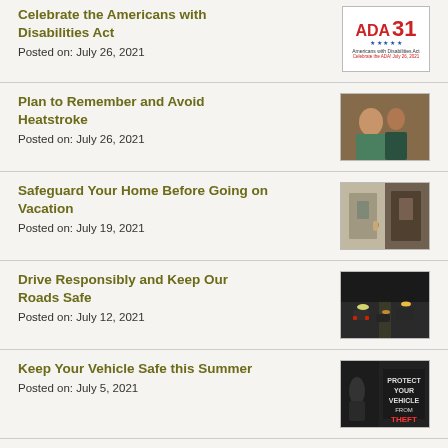Celebrate the Americans with Disabilities Act
Posted on: July 26, 2021
[Figure (illustration): ADA 31 logo - Americans with Disabilities Act anniversary graphic]
Plan to Remember and Avoid Heatstroke
Posted on: July 26, 2021
[Figure (photo): Photo of adults and child, heatstroke awareness]
Safeguard Your Home Before Going on Vacation
Posted on: July 19, 2021
[Figure (photo): Photo of person using a door lock or security device]
Drive Responsibly and Keep Our Roads Safe
Posted on: July 12, 2021
[Figure (photo): Photo of cars on a road at night with lights]
Keep Your Vehicle Safe this Summer
Posted on: July 5, 2021
[Figure (photo): Graphic saying PROTECT YOUR VEHICLE FROM THEFT with a person near a car]
Grand Jury Indictment Returned on Lori N.
[Figure (logo): County seal or logo]